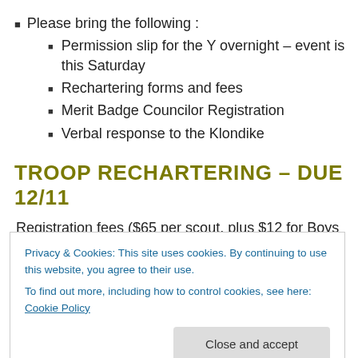Please bring the following :
Permission slip for the Y overnight – event is this Saturday
Rechartering forms and fees
Merit Badge Councilor Registration
Verbal response to the Klondike
TROOP RECHARTERING – DUE 12/11
Registration fees ($65 per scout, plus $12 for Boys
Privacy & Cookies: This site uses cookies. By continuing to use this website, you agree to their use.
To find out more, including how to control cookies, see here: Cookie Policy
Close and accept
Troop 29 will have the run of the YMCA in Franklin on